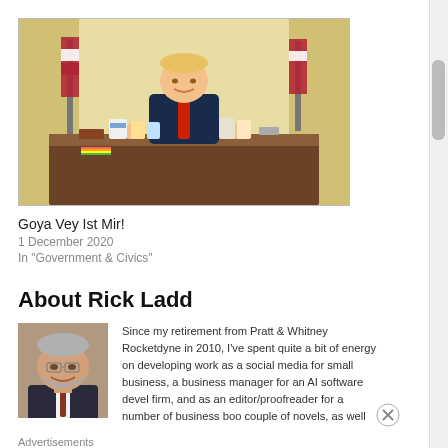[Figure (photo): Photo of a man in a suit sitting at a desk in the Oval Office giving thumbs up, with an American flag and gold curtains in the background, with Goya products on the desk]
Goya Vey Ist Mir!
1 December 2020
In "Government & Civics"
About Rick Ladd
[Figure (photo): Headshot of an older man with grey hair and beard, smiling, wearing a dark suit with tie]
Since my retirement from Pratt & Whitney Rocketdyne in 2010, I've spent quite a bit of energy on developing work as a social media for small business, a business manager for an AI software devel firm, and as an editor/proofreader for a number of business books couple of novels, as well as a two-year return engagement at R from 2015 to 2017. I have decided to stop actively pursuing
Advertisements
[Figure (other): DAY ONE journaling app advertisement with text: The only journaling app you'll ever need.]